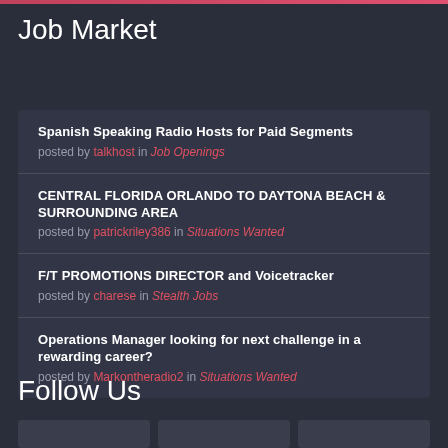Job Market
Spanish Speaking Radio Hosts for Paid Segments posted by talkhost in Job Openings
CENTRAL FLORIDA ORLANDO TO DAYTONA BEACH & SURROUNDING AREA posted by patrickriley386 in Situations Wanted
F/T PROMOTIONS DIRECTOR and Voicetracker posted by charese in Stealth Jobs
Operations Manager looking for next challenge in a rewarding career? posted by Markontheradio2 in Situations Wanted
Follow Us